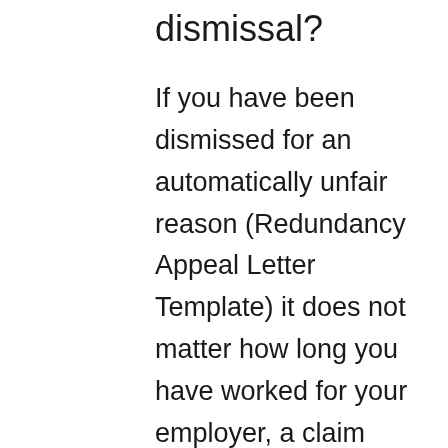dismissal?
If you have been dismissed for an automatically unfair reason (Redundancy Appeal Letter Template) it does not matter how long you have worked for your employer, a claim must be made within 3 months less 1 day of the date your employment ended and in almost all cases the date your